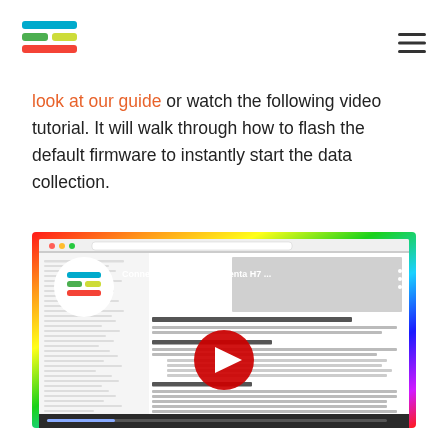Logo and navigation header
look at our guide or watch the following video tutorial. It will walk through how to flash the default firmware to instantly start the data collection.
[Figure (screenshot): YouTube video thumbnail showing 'Connecting Arduino Portenta H7 ...' with play button overlay, a webpage screenshot visible behind, and a rainbow border effect on the edges.]